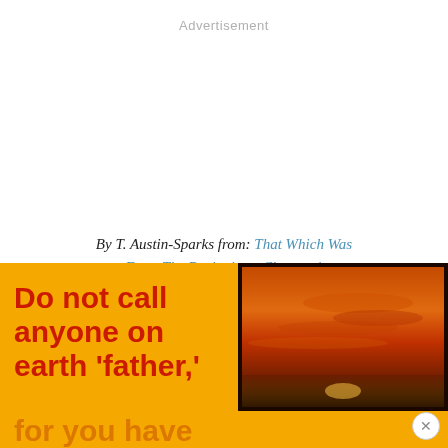Advertisement
By T. Austin-Sparks from: That Which Was From The Beginning - Chapter 1
[Figure (illustration): Advertisement banner with orange/yellow background. Left side has bold red text reading 'Do not call anyone on earth ‘father,’ for you have' (partially cut off at bottom). Right side shows a photo of a sunset/sky with orange and red tones. A close button (x) appears at bottom right corner.]